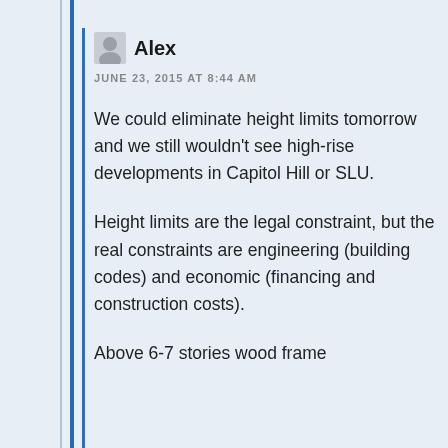Alex
JUNE 23, 2015 AT 8:44 AM
We could eliminate height limits tomorrow and we still wouldn't see high-rise developments in Capitol Hill or SLU.
Height limits are the legal constraint, but the real constraints are engineering (building codes) and economic (financing and construction costs).
Above 6-7 stories wood frame